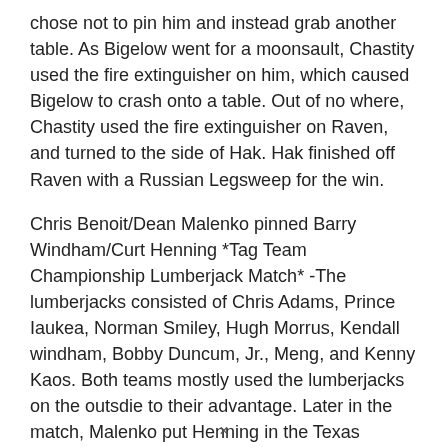chose not to pin him and instead grab another table. As Bigelow went for a moonsault, Chastity used the fire extinguisher on him, which caused Bigelow to crash onto a table. Out of no where, Chastity used the fire extinguisher on Raven, and turned to the side of Hak. Hak finished off Raven with a Russian Legsweep for the win.
Chris Benoit/Dean Malenko pinned Barry Windham/Curt Henning *Tag Team Championship Lumberjack Match* -The lumberjacks consisted of Chris Adams, Prince Iaukea, Norman Smiley, Hugh Morrus, Kendall windham, Bobby Duncum, Jr., Meng, and Kenny Kaos. Both teams mostly used the lumberjacks on the outsdie to their advantage. Later in the match, Malenko put Henning in the Texas Cloverleaf, but Windham quickly made the save. Some brawling began on the outside between the lumberjacks themselves, as Arn Anderson knocked out
×